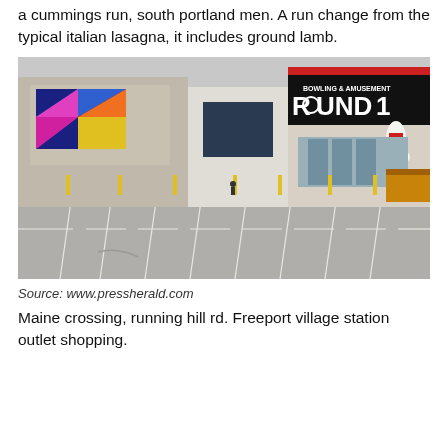a cummings run, south portland men. A run change from the typical italian lasagna, it includes ground lamb.
[Figure (photo): Exterior of a strip mall shopping center showing Round1 Bowling & Amusement store with a large bowling pin sculpture above the entrance, colorful mural on left side of building, empty parking lot in foreground.]
Source: www.pressherald.com
Maine crossing, running hill rd. Freeport village station outlet shopping.